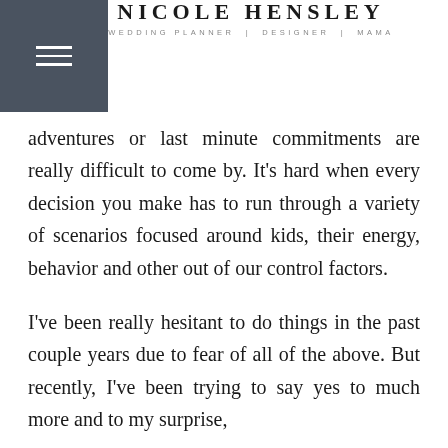NICOLE HENSLEY WEDDING PLANNER | DESIGNER | MAMA
adventures or last minute commitments are really difficult to come by. It's hard when every decision you make has to run through a variety of scenarios focused around kids, their energy, behavior and other out of our control factors.
I've been really hesitant to do things in the past couple years due to fear of all of the above. But recently, I've been trying to say yes to much more and to my surprise,